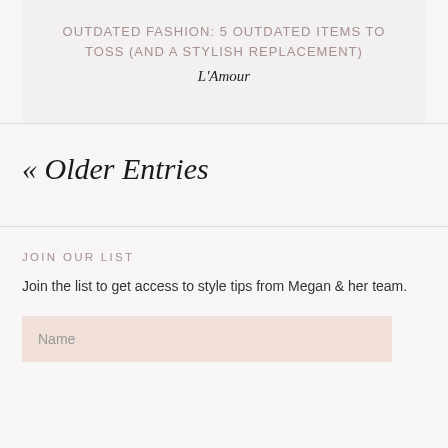OUTDATED FASHION: 5 OUTDATED ITEMS TO TOSS (AND A STYLISH REPLACEMENT)
L'Amour
« Older Entries
JOIN OUR LIST
Join the list to get access to style tips from Megan & her team.
Name